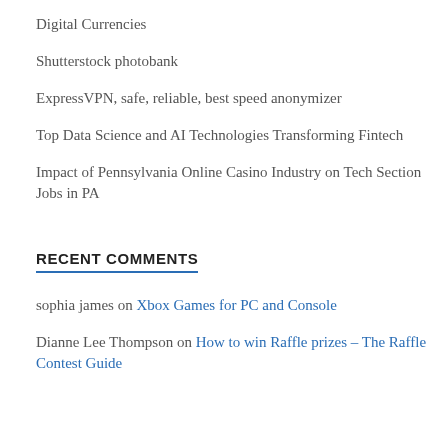Digital Currencies
Shutterstock photobank
ExpressVPN, safe, reliable, best speed anonymizer
Top Data Science and AI Technologies Transforming Fintech
Impact of Pennsylvania Online Casino Industry on Tech Section Jobs in PA
RECENT COMMENTS
sophia james on Xbox Games for PC and Console
Dianne Lee Thompson on How to win Raffle prizes – The Raffle Contest Guide